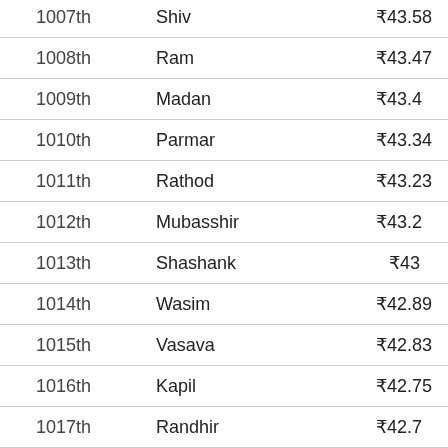| Rank | Name | Amount |
| --- | --- | --- |
| 1007th | Shiv | ₹43.58 |
| 1008th | Ram | ₹43.47 |
| 1009th | Madan | ₹43.4 |
| 1010th | Parmar | ₹43.34 |
| 1011th | Rathod | ₹43.23 |
| 1012th | Mubasshir | ₹43.2 |
| 1013th | Shashank | ₹43 |
| 1014th | Wasim | ₹42.89 |
| 1015th | Vasava | ₹42.83 |
| 1016th | Kapil | ₹42.75 |
| 1017th | Randhir | ₹42.7 |
| 1018th | Royal | ₹42.6 |